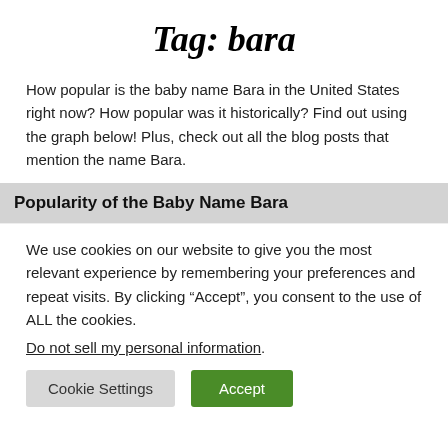Tag: bara
How popular is the baby name Bara in the United States right now? How popular was it historically? Find out using the graph below! Plus, check out all the blog posts that mention the name Bara.
Popularity of the Baby Name Bara
We use cookies on our website to give you the most relevant experience by remembering your preferences and repeat visits. By clicking “Accept”, you consent to the use of ALL the cookies.
Do not sell my personal information.
Cookie Settings   Accept